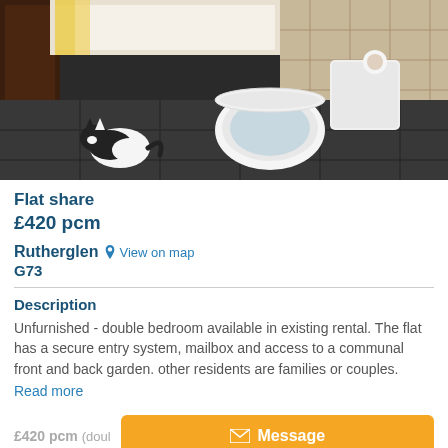[Figure (photo): Overhead view of a bathroom with a black and white cat on the dark tile floor, a white toilet with open lid, a bathtub with yellow curtain, and beige tiles on the walls]
Flat share
£420 pcm
Rutherglen  View on map
G73
Description
Unfurnished - double bedroom available in existing rental. The flat has a secure entry system, mailbox and access to a communal front and back garden. other residents are families or couples.
Read more
£420 pcm (doul...
Message